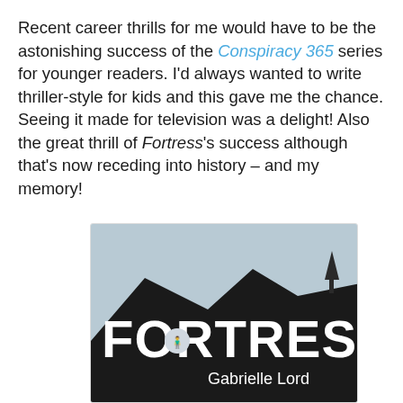Recent career thrills for me would have to be the astonishing success of the Conspiracy 365 series for younger readers. I'd always wanted to write thriller-style for kids and this gave me the chance. Seeing it made for television was a delight! Also the great thrill of Fortress's success although that's now receding into history – and my memory!
[Figure (photo): Book cover of 'Fortress' by Gabrielle Lord. Dark silhouette of a mountain against a pale sky, with the title FORTRESS in large white bold letters and two small figures visible in the 'O'. Below the title reads 'Gabrielle Lord' in white text.]